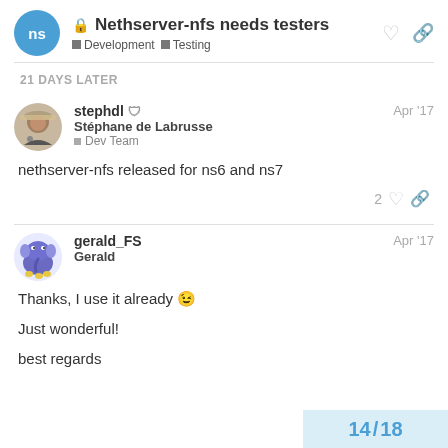Nethserver-nfs needs testers — Development, Testing
21 DAYS LATER
stephdl — Stéphane de Labrusse — Dev Team — Apr '17
nethserver-nfs released for ns6 and ns7
gerald_FS — Gerald — Apr '17
Thanks, I use it already 😉

Just wonderful!

best regards
14 / 18